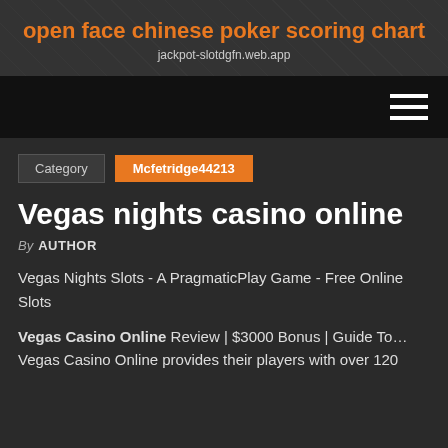open face chinese poker scoring chart
jackpot-slotdgfn.web.app
[Figure (other): Navigation bar with hamburger menu icon (three horizontal white lines) on black background]
Category  Mcfetridge44213
Vegas nights casino online
By AUTHOR
Vegas Nights Slots - A PragmaticPlay Game - Free Online Slots
Vegas Casino Online Review | $3000 Bonus | Guide To… Vegas Casino Online provides their players with over 120